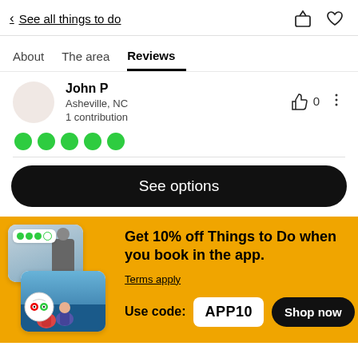< See all things to do
Reviews
John P
Asheville, NC
1 contribution
[Figure (illustration): Five green filled circle dots representing a 5-star rating]
See options
[Figure (infographic): Promotional banner with app screenshots and TripAdvisor logo]
Get 10% off Things to Do when you book in the app.
Terms apply
Use code: APP10
Shop now